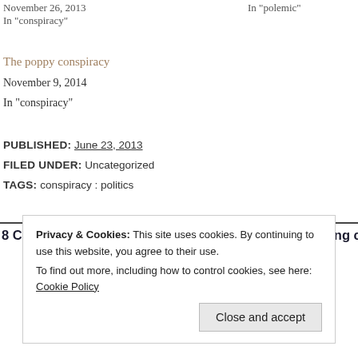November 26, 2013
In "polemic"
In "conspiracy"
The poppy conspiracy
November 9, 2014
In "conspiracy"
PUBLISHED: June 23, 2013
FILED UNDER: Uncategorized
TAGS: conspiracy : politics
8 Comments to “Istanbul, Prism, São Paulo: Unearthing chthonic conspira…
Privacy & Cookies: This site uses cookies. By continuing to use this website, you agree to their use.
To find out more, including how to control cookies, see here: Cookie Policy
Close and accept